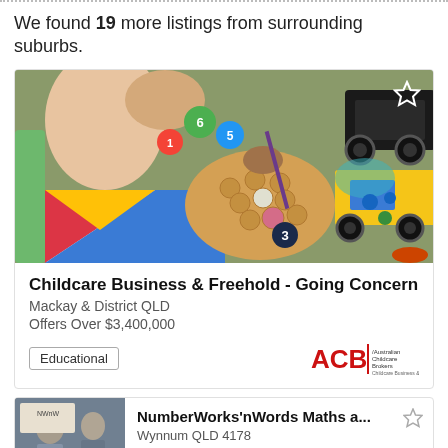We found 19 more listings from surrounding suburbs.
[Figure (photo): Child's hands playing with colorful wooden number puzzle pieces and toy trucks on a green table]
Childcare Business & Freehold - Going Concern
Mackay & District QLD
Offers Over $3,400,000
Educational
[Figure (logo): ACB Australian Childcare Brokers logo]
NumberWorks'nWords Maths a...
Wynnum QLD 4178